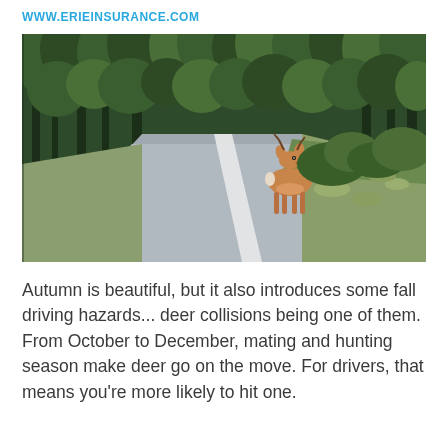WWW.ERIEINSURANCE.COM
[Figure (photo): A deer standing on the edge of a curved road surrounded by green forest trees. The road curves to the left, with a white center line visible. The deer faces the camera from the right side near tall grass and dense evergreen trees.]
Autumn is beautiful, but it also introduces some fall driving hazards... deer collisions being one of them. From October to December, mating and hunting season make deer go on the move. For drivers, that means you’re more likely to hit one.